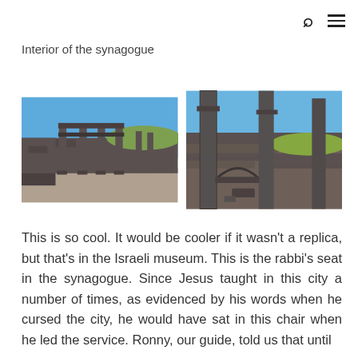Interior of the synagogue
[Figure (photo): Two photographs of the interior ruins of an ancient synagogue, showing stone columns and arches under a blue sky, with black basalt stone walls.]
This is so cool. It would be cooler if it wasn't a replica, but that's in the Israeli museum. This is the rabbi's seat in the synagogue. Since Jesus taught in this city a number of times, as evidenced by his words when he cursed the city, he would have sat in this chair when he led the service. Ronny, our guide, told us that until